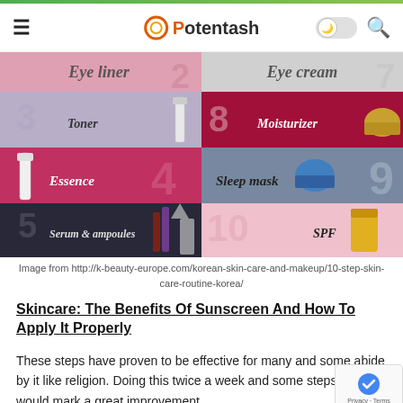Potentash
[Figure (infographic): Korean 10-step skincare routine infographic showing steps 2-10: Toner (3), Essence (4), Serum & ampoules (5), Eye cream (7), Moisturizer (8), Sleep mask (9), SPF (10), with colored grid layout and product images.]
Image from http://k-beauty-europe.com/korean-skin-care-and-makeup/10-step-skin-care-routine-korea/
Skincare: The Benefits Of Sunscreen And How To Apply It Properly
These steps have proven to be effective for many and some abide by it like religion. Doing this twice a week and some steps daily would mark a great improvement